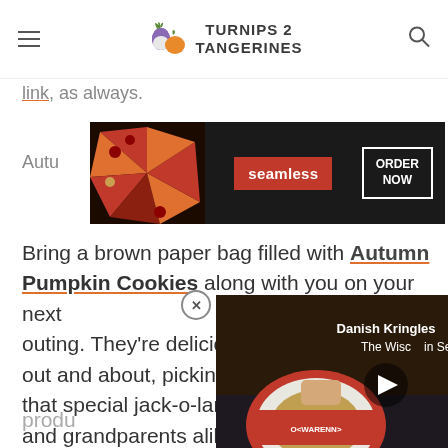TURNIPS 2 TANGERINES
link, as always.
[Figure (screenshot): Seamless food delivery advertisement banner with pizza image on dark background, red Seamless logo, and ORDER NOW button]
Bring a brown paper bag filled with Autumn Pumpkin Cookies along with you on your next outing. They’re delicious to eat when you’re out and about, picking apples, searching for that special jack-o-lantern pumpkin. Kids and grandparents alike will love these fall favorite cookies. Packed with the flavors and warm spices of fall. We prefer canned pkin
[Figure (screenshot): Video overlay showing Danish Kringles - The Wisconsin Series with a red-packaged pastry product and a play button]
produ